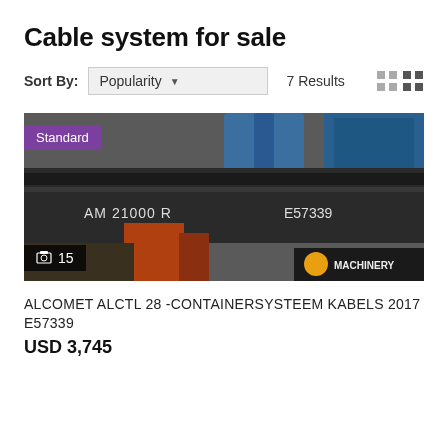Cable system for sale
Sort By: Popularity ▼  7 Results
[Figure (photo): Photo of an Alcomet ALCTL 28 containersysteem kabels industrial cable system on a transport vehicle, with 'AM 21000 R' and 'E57339' text visible. A 'Standard' purple badge in top-left and an image count badge showing '15' in bottom-left. Machinery Planet logo bottom-right.]
ALCOMET ALCTL 28 -CONTAINERSYSTEEM KABELS 2017 E57339
USD 3,745